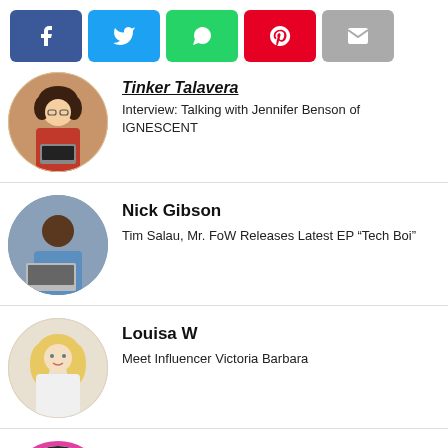[Figure (infographic): Social share button bar with Facebook (blue), Twitter (light blue), WhatsApp (green), Pinterest (red), and Email (gray) buttons]
[Figure (photo): Circular avatar photo of a woman with curly hair working on a laptop, partial name 'Tinker Talavera' visible at top]
Tinker Talavera
Interview: Talking with Jennifer Benson of IGNESCENT
[Figure (photo): Circular avatar photo of a bald Black man working on a laptop]
Nick Gibson
Tim Salau, Mr. FoW Releases Latest EP “Tech Boi”
[Figure (photo): Circular avatar photo of a blonde woman in a white outfit]
Louisa W
Meet Influencer Victoria Barbara
[Figure (photo): Circular avatar photo partially visible, appears to be a woman with pink/magenta border]
Ashlee Munoz